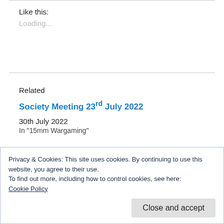Like this:
Loading...
Related
Society Meeting 23rd July 2022
30th July 2022
In "15mm Wargaming"
Privacy & Cookies: This site uses cookies. By continuing to use this website, you agree to their use.
To find out more, including how to control cookies, see here: Cookie Policy
Close and accept